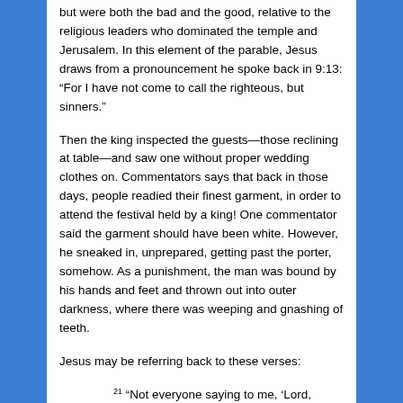but were both the bad and the good, relative to the religious leaders who dominated the temple and Jerusalem. In this element of the parable, Jesus draws from a pronouncement he spoke back in 9:13: “For I have not come to call the righteous, but sinners.”
Then the king inspected the guests—those reclining at table—and saw one without proper wedding clothes on. Commentators says that back in those days, people readied their finest garment, in order to attend the festival held by a king! One commentator said the garment should have been white. However, he sneaked in, unprepared, getting past the porter, somehow. As a punishment, the man was bound by his hands and feet and thrown out into outer darkness, where there was weeping and gnashing of teeth.
Jesus may be referring back to these verses:
21 “Not everyone saying to me, ‘Lord, Lord,’ shall enter the kingdom of heaven, but the one doing the